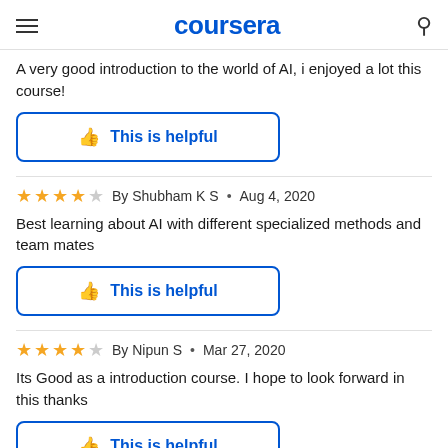coursera
A very good introduction to the world of AI, i enjoyed a lot this course!
This is helpful
By Shubham K S • Aug 4, 2020
Best learning about AI with different specialized methods and team mates
This is helpful
By Nipun S • Mar 27, 2020
Its Good as a introduction course. I hope to look forward in this thanks
This is helpful